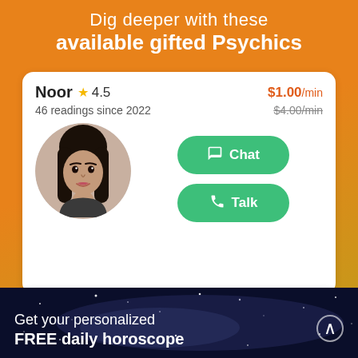Dig deeper with these available gifted Psychics
[Figure (infographic): Psychic profile card for Noor, rating 4.5, $1.00/min (was $4.00/min), 46 readings since 2022, with Chat and Talk buttons, circular photo of young woman]
[Figure (infographic): Psychic profile card for Vadoma, rating 4.6, $1.00/min (was $5.00/min), 8313 readings since 2020, with Chat button, partial circular photo]
Get your personalized FREE daily horoscope